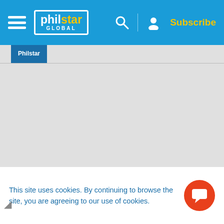[Figure (screenshot): Philstar Global website navigation bar with hamburger menu, logo, search icon, user icon, and Subscribe button on blue background]
philstar GLOBAL — Subscribe
Philstar (tab label, partially visible)
This site uses cookies. By continuing to browse the site, you are agreeing to our use of cookies.